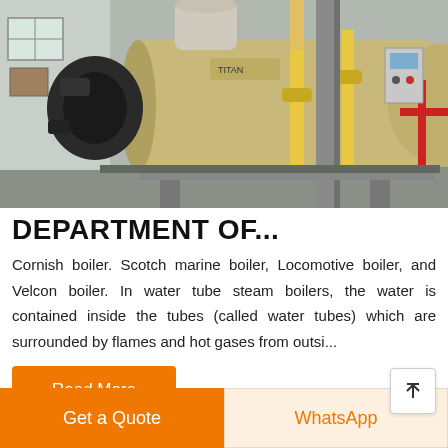[Figure (photo): Industrial boiler room with large horizontal cylindrical boilers, yellow gas pipes, and black burner assemblies inside an industrial facility.]
DEPARTMENT OF...
Cornish boiler. Scotch marine boiler, Locomotive boiler, and Velcon boiler. In water tube steam boilers, the water is contained inside the tubes (called water tubes) which are surrounded by flames and hot gases from outsi...
Read More
Get a Quote
WhatsApp